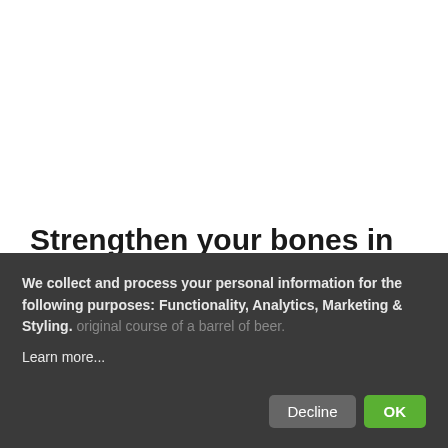Strengthen your bones in Beer Spa
Imagine yourself enjoying a beer bath while you drink beer too in a wood barrel. This is a magnifique experience and original, because this is a new concept in Spain.
We collect and process your personal information for the following purposes: Functionality, Analytics, Marketing & Styling.
Learn more...